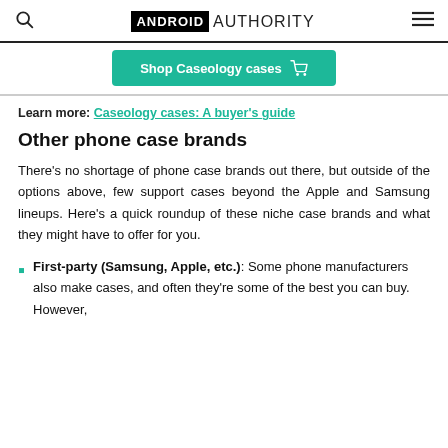ANDROID AUTHORITY
[Figure (other): Shop Caseology cases button with shopping cart icon, green background]
Learn more: Caseology cases: A buyer's guide
Other phone case brands
There's no shortage of phone case brands out there, but outside of the options above, few support cases beyond the Apple and Samsung lineups. Here's a quick roundup of these niche case brands and what they might have to offer for you.
First-party (Samsung, Apple, etc.): Some phone manufacturers also make cases, and often they're some of the best you can buy. However,